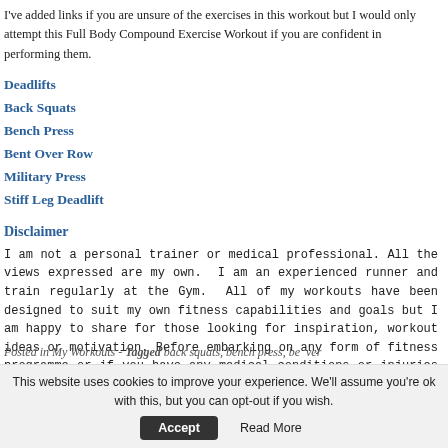I've added links if you are unsure of the exercises in this workout but I would only attempt this Full Body Compound Exercise Workout if you are confident in performing them.
Deadlifts
Back Squats
Bench Press
Bent Over Row
Military Press
Stiff Leg Deadlift
Disclaimer
I am not a personal trainer or medical professional. All the views expressed are my own. I am an experienced runner and train regularly at the Gym. All of my workouts have been designed to suit my own fitness capabilities and goals but I am happy to share for those looking for inspiration, workout ideas or motivation. Before embarking on any form of fitness programme or if you have any medical conditions or injuries please seek professional medical advice.
Posted in My Workouts - Tagged back squats, bench press, be...ver
This website uses cookies to improve your experience. We'll assume you're ok with this, but you can opt-out if you wish. Accept Read More